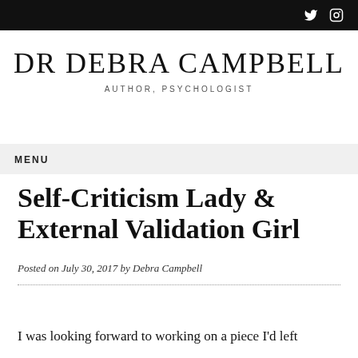DR DEBRA CAMPBELL — AUTHOR, PSYCHOLOGIST
MENU
Self-Criticism Lady & External Validation Girl
Posted on July 30, 2017 by Debra Campbell
I was looking forward to working on a piece I'd left